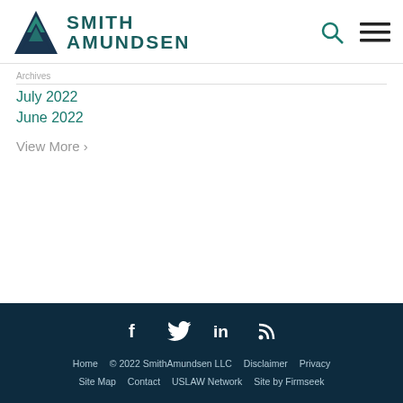Smith Amundsen logo header with search and menu icons
July 2022
June 2022
View More ›
Social icons: Facebook, Twitter, LinkedIn, RSS. Home  © 2022 SmithAmundsen LLC  Disclaimer  Privacy  Site Map  Contact  USLAW Network  Site by Firmseek